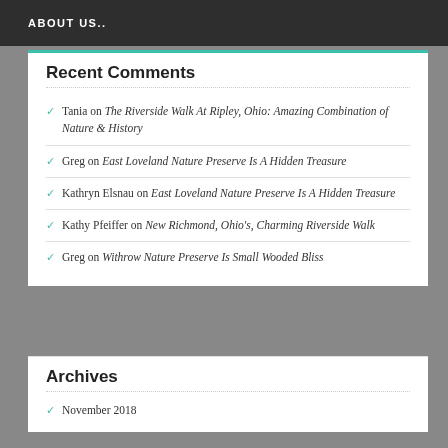ABOUT US..
Recent Comments
Tania on The Riverside Walk At Ripley, Ohio: Amazing Combination of Nature & History
Greg on East Loveland Nature Preserve Is A Hidden Treasure
Kathryn Elsnau on East Loveland Nature Preserve Is A Hidden Treasure
Kathy Pfeiffer on New Richmond, Ohio's, Charming Riverside Walk
Greg on Withrow Nature Preserve Is Small Wooded Bliss
Archives
November 2018